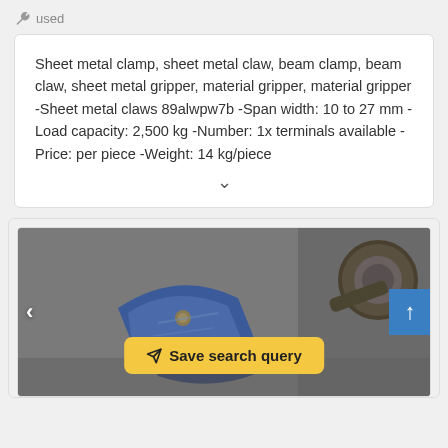used
Sheet metal clamp, sheet metal claw, beam clamp, beam claw, sheet metal gripper, material gripper, material gripper -Sheet metal claws 89alwpw7b -Span width: 10 to 27 mm -Load capacity: 2,500 kg -Number: 1x terminals available -Price: per piece -Weight: 14 kg/piece
[Figure (photo): Photo of a used blue metal clamp/gripper device with a ring bolt attachment, photographed on a gray surface. Navigation arrows on left and right. A yellow 'Save search query' button overlays the image. A blue scroll-to-top button is on the right edge.]